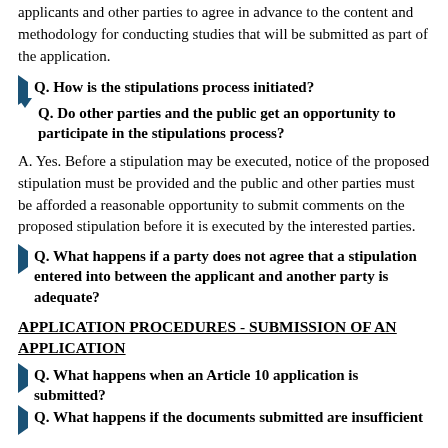applicants and other parties to agree in advance to the content and methodology for conducting studies that will be submitted as part of the application.
Q. How is the stipulations process initiated?
Q. Do other parties and the public get an opportunity to participate in the stipulations process?
A. Yes. Before a stipulation may be executed, notice of the proposed stipulation must be provided and the public and other parties must be afforded a reasonable opportunity to submit comments on the proposed stipulation before it is executed by the interested parties.
Q. What happens if a party does not agree that a stipulation entered into between the applicant and another party is adequate?
APPLICATION PROCEDURES - SUBMISSION OF AN APPLICATION
Q. What happens when an Article 10 application is submitted?
Q. What happens if the documents submitted are insufficient